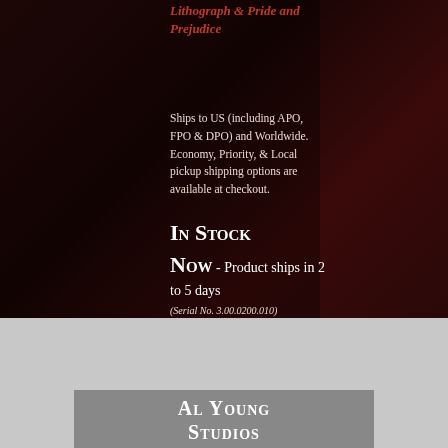Lithograph & Pride and Prejudice
Ships to US (including APO, FPO & DPO) and Worldwide. Economy, Priority, & Local pickup shipping options are available at checkout.
In Stock Now - Product ships in 2 to 5 days (Serial No. 3.00.0200.010)
[Figure (photo): Product image showing a stamp or print, partially visible, with Al Young Studios branding below]
Al Young Studios